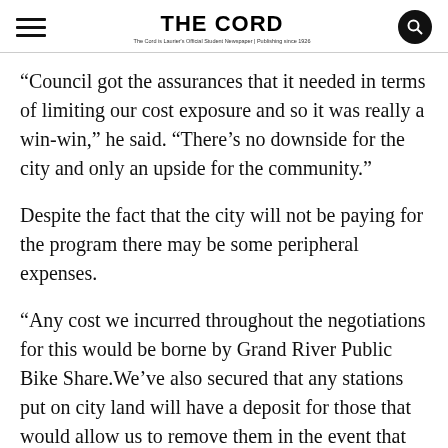THE CORD
“Council got the assurances that it needed in terms of limiting our cost exposure and so it was really a win-win,” he said. “There’s no downside for the city and only an upside for the community.”
Despite the fact that the city will not be paying for the program there may be some peripheral expenses.
“Any cost we incurred throughout the negotiations for this would be borne by Grand River Public Bike Share.We’ve also secured that any stations put on city land will have a deposit for those that would allow us to remove them in the event that they weren’t successful.”